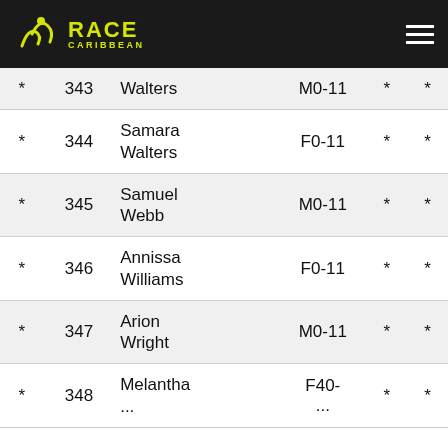[Figure (logo): Race Caribbean logo with yellow icon and text on dark header bar]
| * | # | Name | Category | * | * |
| --- | --- | --- | --- | --- | --- |
| * | 343 | Walters | M0-11 | * | * |
| * | 344 | Samara Walters | F0-11 | * | * |
| * | 345 | Samuel Webb | M0-11 | * | * |
| * | 346 | Annissa Williams | F0-11 | * | * |
| * | 347 | Arion Wright | M0-11 | * | * |
| * | 348 | Melantha ... | F40-... | * | * |